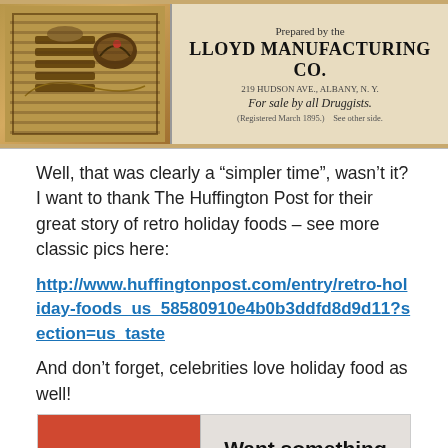[Figure (photo): Vintage advertisement for Lloyd Manufacturing Co., 219 Hudson Ave., Albany, N.Y., for sale by all Druggists. Registered March 1885. Left side shows an old illustrated label with stacked item and bird. Right side has text on cream background.]
Well, that was clearly a “simpler time”, wasn’t it? I want to thank The Huffington Post for their great story of retro holiday foods – see more classic pics here:
http://www.huffingtonpost.com/entry/retro-holiday-foods_us_58580910e4b0b3ddfd8d9d11?section=us_taste
And don’t forget, celebrities love holiday food as well!
[Figure (photo): Vintage advertisement with red background on left showing a person's head from behind, and gray background on right with text: 'Want something NEW for dinner? HERE'S A SUGGESTION FROM']